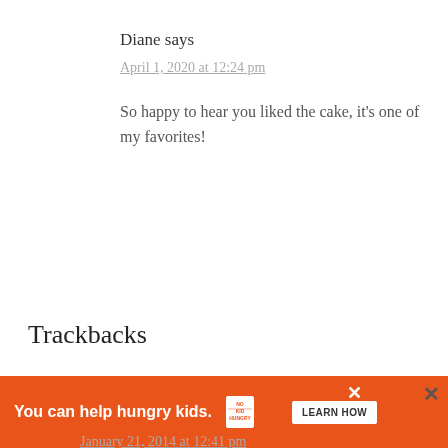Diane says
April 1, 2020 at 12:24 pm
So happy to hear you liked the cake, it’s one of my favorites!
Trackbacks
How to make coffee syrup | Created by Diane says:
January 21, 2014 at 12:41 pm
[Figure (infographic): Orange advertisement banner: 'You can help hungry kids.' with No Kid Hungry logo and LEARN HOW button, with close X buttons]